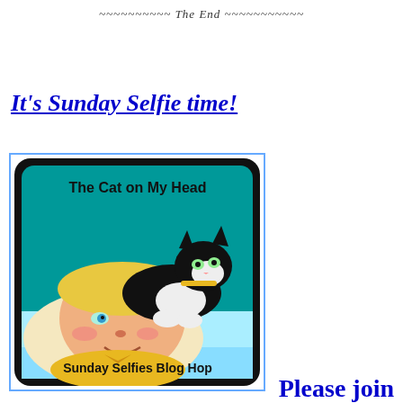~~~~~~~~~~ The End ~~~~~~~~~~~
It's Sunday Selfie time!
[Figure (illustration): Illustrated badge for 'Sunday Selfies Blog Hop' from 'The Cat on My Head' blog, showing a cartoon woman lying down with a black and white cat resting on her head, on a teal background with rounded square border.]
Please join